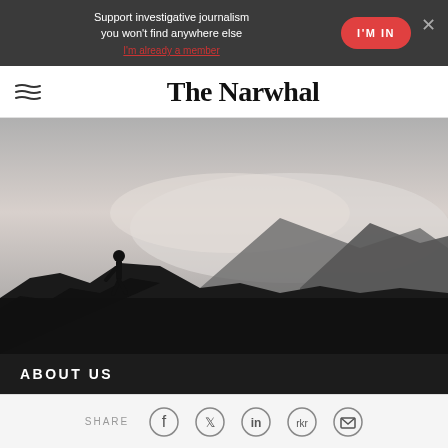Support investigative journalism you won't find anywhere else
I'm already a member
I'M IN
The Narwhal
[Figure (photo): Black and white photo of a person silhouetted on rocky terrain with misty mountains in the background]
ABOUT US
SHARE